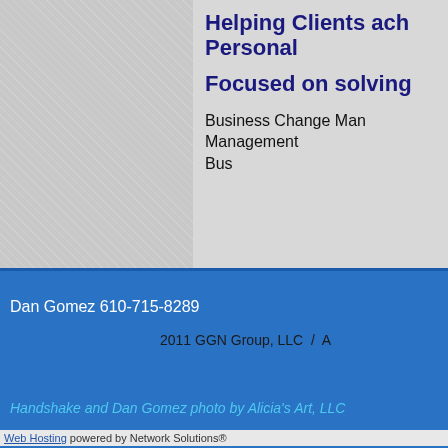[Figure (photo): White fabric or canvas texture photograph on the left panel]
Helping Clients ach... Personal...
Focused on solving...
Business Change Man... Management... Bus...
Dan Gomez 610-715-8289
2011 GGN Group, LLC  /  A...
Handshake and Dan Gomez photo by Alicia's Art, LLC
Web Hosting powered by Network Solutions®